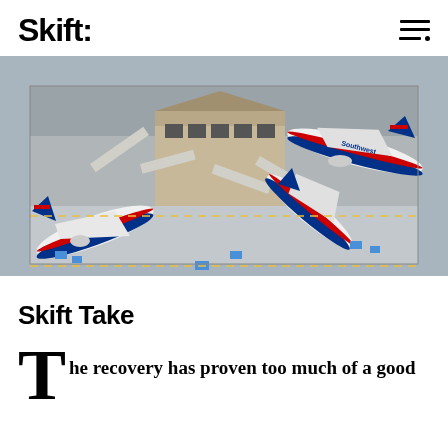Skift
[Figure (photo): Aerial view of Southwest Airlines planes at an airport terminal gate, showing multiple aircraft connected to jet bridges on the tarmac.]
Skift Take
The recovery has proven too much of a good